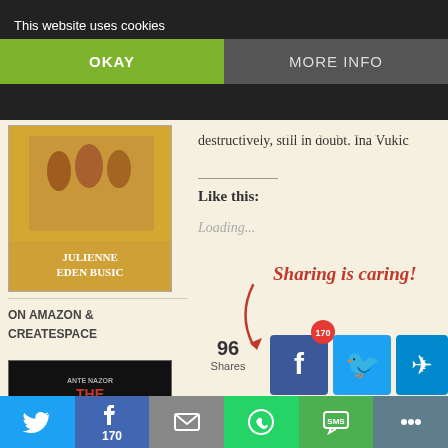This website uses cookies
OKAY
MORE INFO
transported Lenin in a sealed truck like a century on, the communist bacteria is… nocracy's immunity to it in Croatia is…
destructively, still in doubt. Ina Vukic
[Figure (photo): Book cover with figures and text JULIENNE EDEN BUSIC]
ON AMAZON & CREATESPACE
[Figure (photo): Book cover: THE CROATIAN WAR OF INDEPENDENCE by Ante Nazor]
Like this:
Loading...
[Figure (infographic): Sharing is caring! graphic with arrow, 96 Shares count, social media share buttons: Facebook (170), Twitter, Telegram, Pinterest, and a green share button]
You may also like:
Bottom sharing bar with Twitter, Facebook (170), Email, WhatsApp, SMS, More buttons